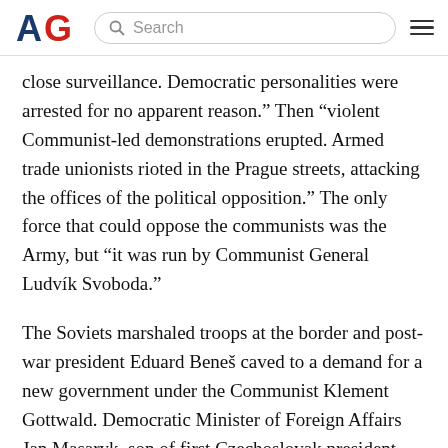AG | Search
close surveillance. Democratic personalities were arrested for no apparent reason.” Then “violent Communist-led demonstrations erupted. Armed trade unionists rioted in the Prague streets, attacking the offices of the political opposition.” The only force that could oppose the communists was the Army, but “it was run by Communist General Ludvík Svoboda.”
The Soviets marshaled troops at the border and post-war president Eduard Beneš caved to a demand for a new government under the Communist Klement Gottwald. Democratic Minister of Foreign Affairs Jan Masaryk, son of first Czechoslovak president Tomáš G. Masaryk, died a mysterious death. As Burns explains, “he either fell or was pushed off a balcony of the Czernin Palace and was found on the pavement below his office.” A constitution modeled after the USSR became law and no opposition to